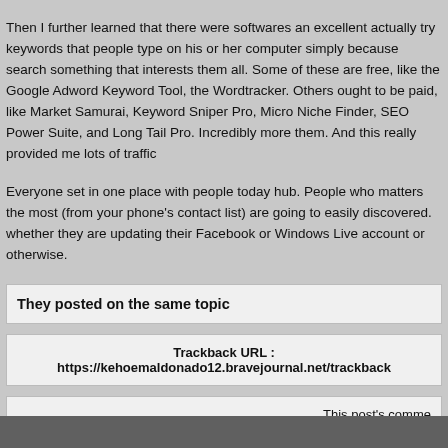Then I further learned that there were softwares an excellent actually try keywords that people type on his or her computer simply because search something that interests them all. Some of these are free, like the Google Adword Keyword Tool, the Wordtracker. Others ought to be paid, like Market Samurai, Keyword Sniper Pro, Micro Niche Finder, SEO Power Suite, and Long Tail Pro. Incredibly more them. And this really provided me lots of traffic
Everyone set in one place with people today hub. People who matters the most (from your phone's contact list) are going to easily discovered. whether they are updating their Facebook or Windows Live account or otherwise.
They posted on the same topic
Trackback URL : https://kehoemaldonado12.bravejournal.net/trackback
This post's comme